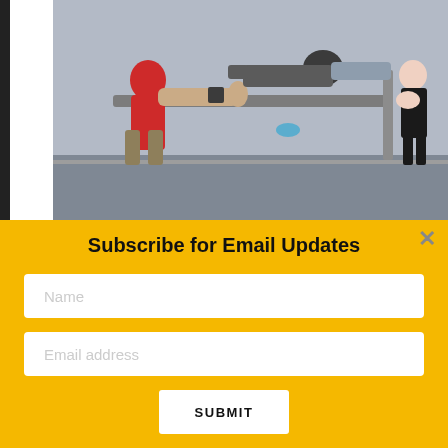[Figure (photo): People performing human flag and other calisthenics moves on outdoor bars/railings]
In classic PCC fashion, multiple PR's and first time feats of strength were achieved. From flying human flags, to mighty muscle-ups, to
Subscribe for Email Updates
Name
Email address
SUBMIT